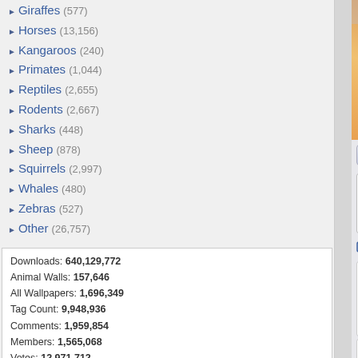Giraffes (577)
Horses (13,156)
Kangaroos (240)
Primates (1,044)
Reptiles (2,655)
Rodents (2,667)
Sharks (448)
Sheep (878)
Squirrels (2,997)
Whales (480)
Zebras (527)
Other (26,757)
Downloads: 640,129,772
Animal Walls: 157,646
All Wallpapers: 1,696,349
Tag Count: 9,948,936
Comments: 1,959,854
Members: 1,565,068
Votes: 12,971,712
5,924 Users Online
103 members, 5,821 guests
AlvaradoSulwen, Anderlecht, artinconstruction, Astro, BestPsychic000, bmpressurewashing2, Boatent98, boliou, brandbajade, bridgecounseling, brighterfinance, CarrollDentistry, cell-phone-hacking, chatonfragile, Cleaners567, ColbyRichardson,
[Figure (photo): Wallpaper image showing warm sky tones with orange/gold gradient and light blue upper area]
Report This Wallpaper   Add To F...
Leave a comment...
Wallpaper Comments (2)
Posted by rosarina on 10/04/11 at 12:35
Graceful colors ! fav+1
Posted by CHACHA08 on 09/28/11 at 06...
gorgeous
1fd
View All Co...